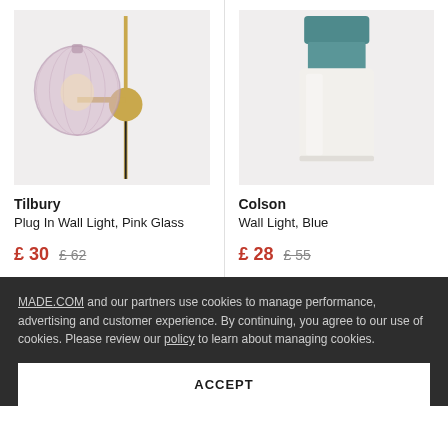[Figure (photo): Tilbury Plug In Wall Light with pink glass globe shade and brass fitting]
[Figure (photo): Colson Wall Light in blue teal with white frosted cylinder shade]
Tilbury
Plug In Wall Light, Pink Glass
£ 30  £ 62
Colson
Wall Light, Blue
£ 28  £ 55
MADE.COM and our partners use cookies to manage performance, advertising and customer experience. By continuing, you agree to our use of cookies. Please review our policy to learn about managing cookies.
ACCEPT